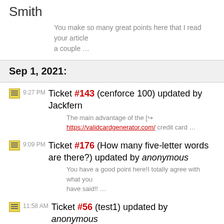Smith
You make so many great points here that I read your article a couple …
Sep 1, 2021:
9:27 PM Ticket #143 (cenforce 100) updated by Jackfern
The main advantage of the [↪ https://validcardgenerator.com/ credit card …
9:09 PM Ticket #176 (How many five-letter words are there?) updated by anonymous
You have a good point here!I totally agree with what you have said!! …
11:58 AM Ticket #56 (test1) updated by anonymous
This was a really great contest and hopefully I can attend the next …
10:58 AM Ticket #1 (First Test) updated by mehakbhat231